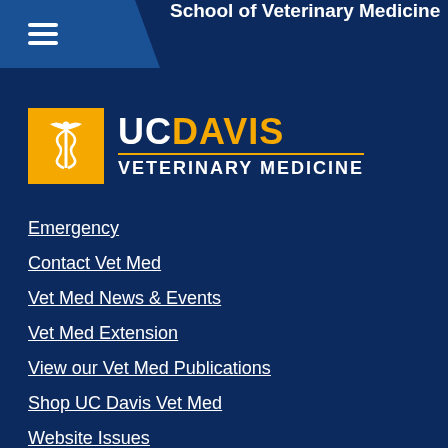School of Veterinary Medicine
[Figure (logo): UC Davis Veterinary Medicine logo with golden caduceus symbol on yellow square background and UC DAVIS VETERINARY MEDICINE text]
Emergency
Contact Vet Med
Vet Med News & Events
Vet Med Extension
View our Vet Med Publications
Shop UC Davis Vet Med
Website Issues
Privacy Policy